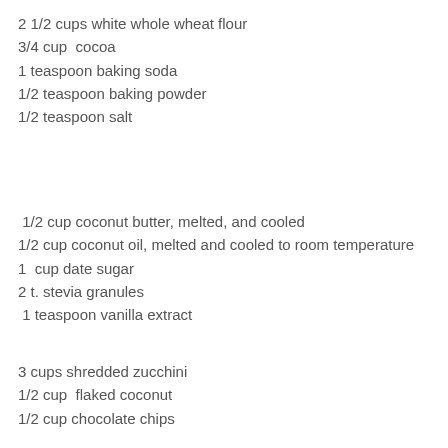2 1/2 cups white whole wheat flour
3/4 cup  cocoa
1 teaspoon baking soda
1/2 teaspoon baking powder
1/2 teaspoon salt
1/2 cup coconut butter, melted, and cooled
1/2 cup coconut oil, melted and cooled to room temperature
1  cup date sugar
2 t. stevia granules
1 teaspoon vanilla extract
3 cups shredded zucchini
1/2 cup  flaked coconut
1/2 cup chocolate chips